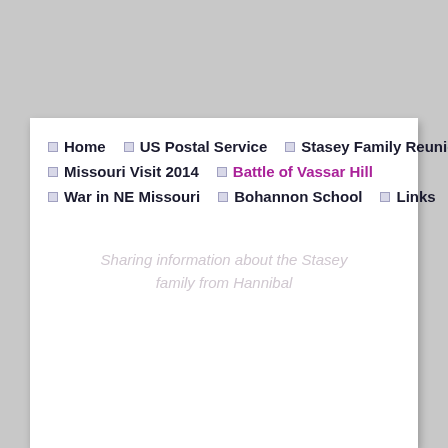Home
US Postal Service
Stasey Family Reunion
Missouri Visit 2014
Battle of Vassar Hill
War in NE Missouri
Bohannon School
Links
Sharing information about the Stasey family from Hannibal